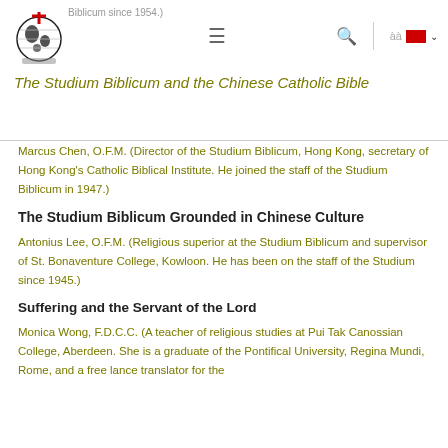Biblicum since 1954.)
The Studium Biblicum and the Chinese Catholic Bible
Marcus Chen, O.F.M. (Director of the Studium Biblicum, Hong Kong, secretary of Hong Kong's Catholic Biblical Institute. He joined the staff of the Studium Biblicum in 1947.)
The Studium Biblicum Grounded in Chinese Culture
Antonius Lee, O.F.M. (Religious superior at the Studium Biblicum and supervisor of St. Bonaventure College, Kowloon. He has been on the staff of the Studium since 1945.)
Suffering and the Servant of the Lord
Monica Wong, F.D.C.C. (A teacher of religious studies at Pui Tak Canossian College, Aberdeen. She is a graduate of the Pontifical University, Regina Mundi, Rome, and a free lance translator for the